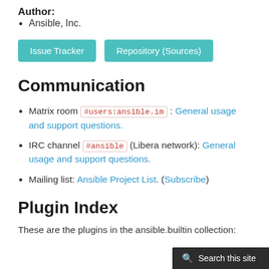Author:
Ansible, Inc.
[Figure (other): Two teal buttons: 'Issue Tracker' and 'Repository (Sources)']
Communication
Matrix room #users:ansible.im : General usage and support questions.
IRC channel #ansible (Libera network): General usage and support questions.
Mailing list: Ansible Project List. (Subscribe)
Plugin Index
These are the plugins in the ansible.builtin collection: